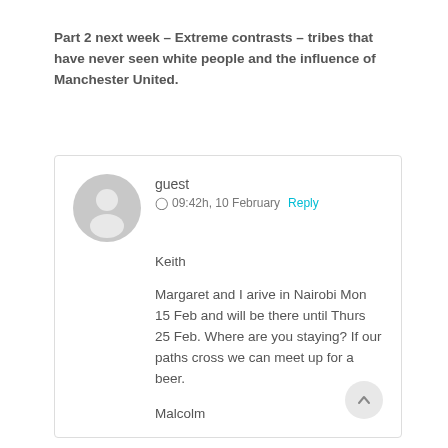Part 2 next week – Extreme contrasts – tribes that have never seen white people and the influence of Manchester United.
guest
09:42h, 10 February Reply
Keith

Margaret and I arive in Nairobi Mon 15 Feb and will be there until Thurs 25 Feb. Where are you staying? If our paths cross we can meet up for a beer.

Malcolm